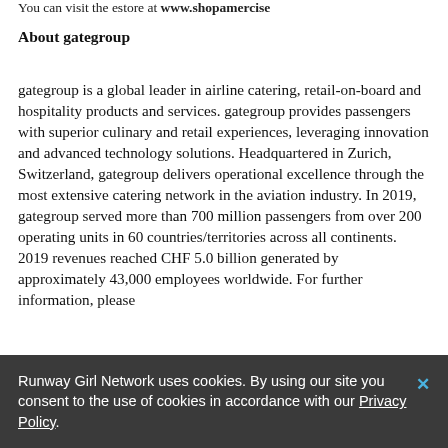You can visit the estore at www.shopamerelse
About gategroup
gategroup is a global leader in airline catering, retail-on-board and hospitality products and services. gategroup provides passengers with superior culinary and retail experiences, leveraging innovation and advanced technology solutions. Headquartered in Zurich, Switzerland, gategroup delivers operational excellence through the most extensive catering network in the aviation industry. In 2019, gategroup served more than 700 million passengers from over 200 operating units in 60 countries/territories across all continents. 2019 revenues reached CHF 5.0 billion generated by approximately 43,000 employees worldwide. For further information, please
Runway Girl Network uses cookies. By using our site you consent to the use of cookies in accordance with our Privacy Policy.